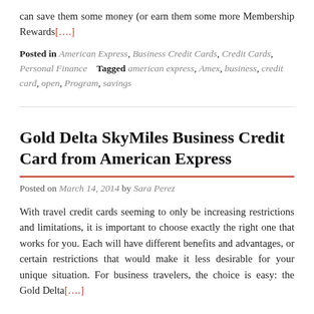can save them some money (or earn them some more Membership Rewards[….]
Posted in American Express, Business Credit Cards, Credit Cards, Personal Finance   Tagged american express, Amex, business, credit card, open, Program, savings
Gold Delta SkyMiles Business Credit Card from American Express
Posted on March 14, 2014 by Sara Perez
With travel credit cards seeming to only be increasing restrictions and limitations, it is important to choose exactly the right one that works for you. Each will have different benefits and advantages, or certain restrictions that would make it less desirable for your unique situation. For business travelers, the choice is easy: the Gold Delta[….]